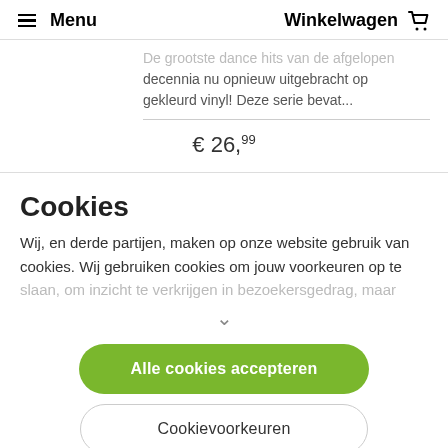≡ Menu   Winkelwagen 🛒
De grootste dance hits van de afgelopen decennia nu opnieuw uitgebracht op gekleurd vinyl! Deze serie bevat...
€ 26,99
Cookies
Wij, en derde partijen, maken op onze website gebruik van cookies. Wij gebruiken cookies om jouw voorkeuren op te slaan, om inzicht te verkrijgen in bezoekersgedrag, maar
Alle cookies accepteren
Cookievoorkeuren